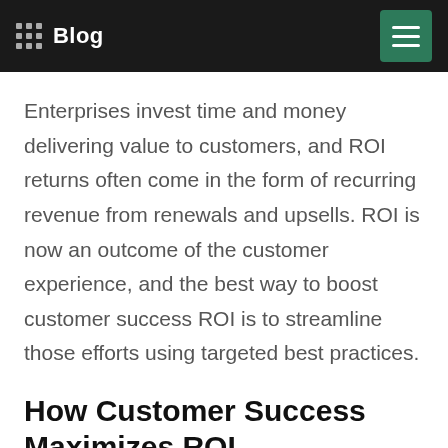Blog
Enterprises invest time and money delivering value to customers, and ROI returns often come in the form of recurring revenue from renewals and upsells. ROI is now an outcome of the customer experience, and the best way to boost customer success ROI is to streamline those efforts using targeted best practices.
How Customer Success Maximizes ROI
In a customer-centered economy, the bulk